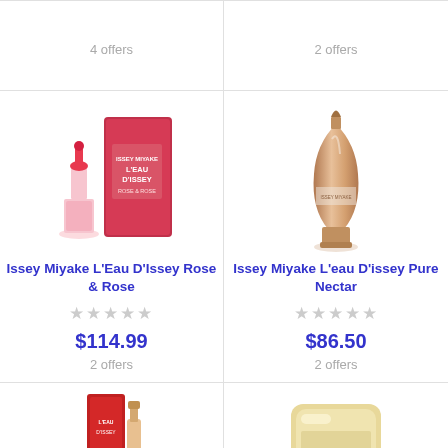4 offers
2 offers
[Figure (photo): Issey Miyake L'Eau D'Issey Rose & Rose perfume bottle and red box]
Issey Miyake L'Eau D'Issey Rose & Rose
★★★★★ (empty stars)
$114.99
2 offers
[Figure (photo): Issey Miyake L'eau D'issey Pure Nectar perfume bottle rose gold]
Issey Miyake L'eau D'issey Pure Nectar
★★★★★ (empty stars)
$86.50
2 offers
[Figure (photo): Red perfume box with bottle, partial view]
[Figure (photo): Gold/cream perfume bottle, partial view]